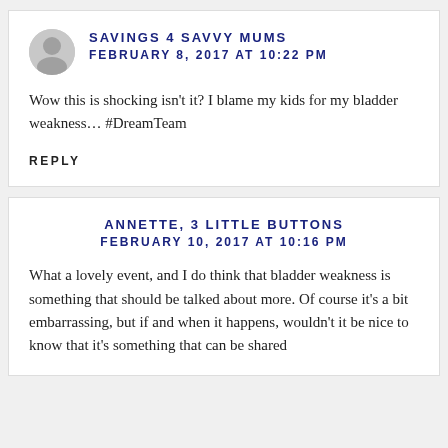SAVINGS 4 SAVVY MUMS
FEBRUARY 8, 2017 AT 10:22 PM
Wow this is shocking isn't it? I blame my kids for my bladder weakness… #DreamTeam
REPLY
ANNETTE, 3 LITTLE BUTTONS
FEBRUARY 10, 2017 AT 10:16 PM
What a lovely event, and I do think that bladder weakness is something that should be talked about more. Of course it's a bit embarrassing, but if and when it happens, wouldn't it be nice to know that it's something that can be shared